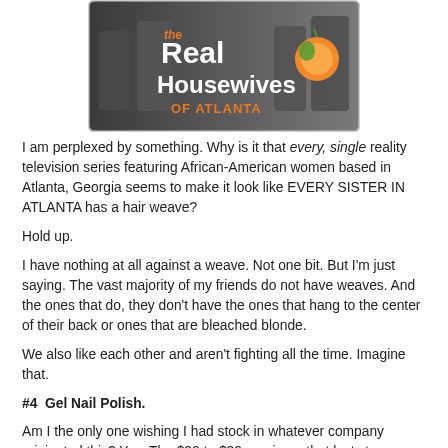[Figure (photo): The Real Housewives of Atlanta TV show logo/banner image showing cast members with show title text]
I am perplexed by something. Why is it that every, single reality television series featuring African-American women based in Atlanta, Georgia seems to make it look like EVERY SISTER IN ATLANTA has a hair weave?
Hold up.
I have nothing at all against a weave. Not one bit. But I'm just saying. The vast majority of my friends do not have weaves. And the ones that do, they don't have the ones that hang to the center of their back or ones that are bleached blonde.
We also like each other and aren't fighting all the time. Imagine that.
#4  Gel Nail Polish.
Am I the only one wishing I had stock in whatever company originated this? Yes. The $20 to $30 manicure that lasts two weeks--or until you are ready to pay $20 - $30 to get another one. And it's not "fake nails" so all the natural girls feel good about saying that as they shell over more than the fake ones cost.
Yes. It's kind of a racket, albeit a pretty one.